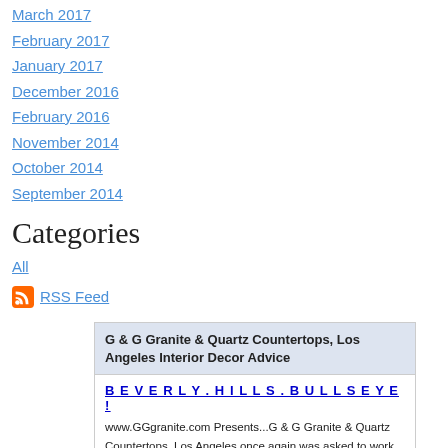March 2017
February 2017
January 2017
December 2016
February 2016
November 2014
October 2014
September 2014
Categories
All
RSS Feed
G & G Granite & Quartz Countertops, Los Angeles Interior Decor Advice
BEVERLY.HILLS.BULLSEYE!
www.GGgranite.com Presents...G & G Granite & Quartz Countertops, Los Angeles once again was asked to work our magi...
CHATSWORTHY!
www.GGgranite.com Presents...G & G Granite &